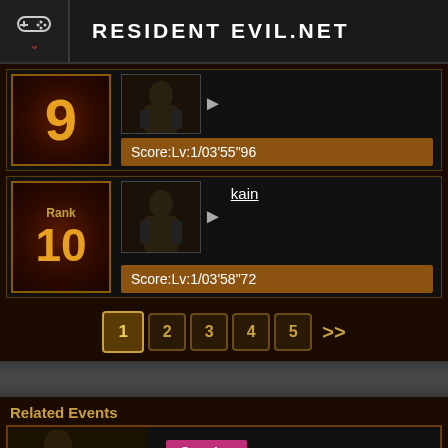RESIDENT EVIL.NET
9
Score:Lv:1/03'55"96
Rank
10
kain
Score:Lv:1/03'58"72
1  2  3  4  5  >>
Related Events
Ongoing